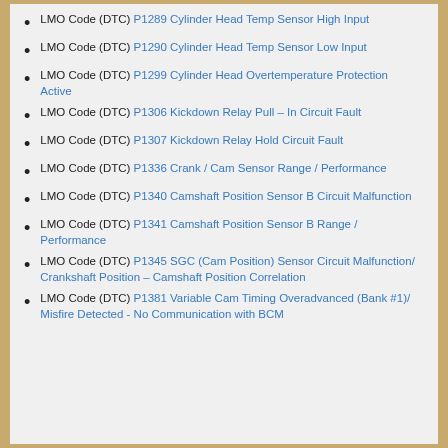LMO Code (DTC) P1289 Cylinder Head Temp Sensor High Input
LMO Code (DTC) P1290 Cylinder Head Temp Sensor Low Input
LMO Code (DTC) P1299 Cylinder Head Overtemperature Protection Active
LMO Code (DTC) P1306 Kickdown Relay Pull – In Circuit Fault
LMO Code (DTC) P1307 Kickdown Relay Hold Circuit Fault
LMO Code (DTC) P1336 Crank / Cam Sensor Range / Performance
LMO Code (DTC) P1340 Camshaft Position Sensor B Circuit Malfunction
LMO Code (DTC) P1341 Camshaft Position Sensor B Range / Performance
LMO Code (DTC) P1345 SGC (Cam Position) Sensor Circuit Malfunction/ Crankshaft Position – Camshaft Position Correlation
LMO Code (DTC) P1381 Variable Cam Timing Overadvanced (Bank #1)/ Misfire Detected - No Communication with BCM